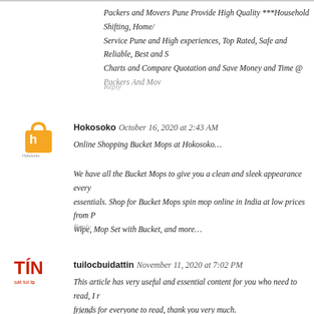Packers and Movers Pune Provide High Quality ***Household Shifting, Home/ Service Pune and High experiences, Top Rated, Safe and Reliable, Best and S Charts and Compare Quotation and Save Money and Time @ Packers And Mov
Reply
[Figure (logo): Hokosoko logo - orange shopping bag icon with 'Hokosoko' text below]
Hokosoko  October 16, 2020 at 2:43 AM
Online Shopping Bucket Mops at Hokosoko…
We have all the Bucket Mops to give you a clean and sleek appearance every essentials. Shop for Bucket Mops spin mop online in India at low prices from P Wipe, Mop Set with Bucket, and more…
Reply
[Figure (logo): TIN logo - red bold TIN text with Vietnamese text below]
tuilocbuidattin  November 11, 2020 at 7:02 PM
This article has very useful and essential content for you who need to read, I r friends for everyone to read, thank you very much.
Reply